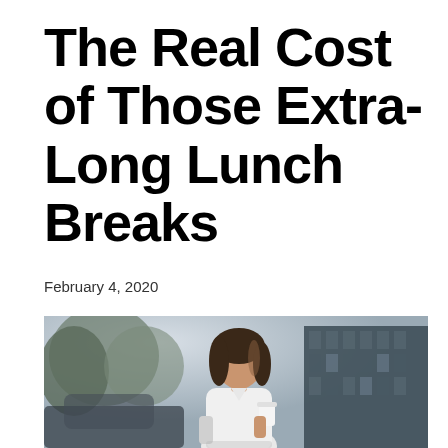The Real Cost of Those Extra-Long Lunch Breaks
February 4, 2020
[Figure (photo): Young woman with long brown hair wearing a white shirt, holding a white coffee cup, standing outside near a car with trees and a building in the blurred background.]